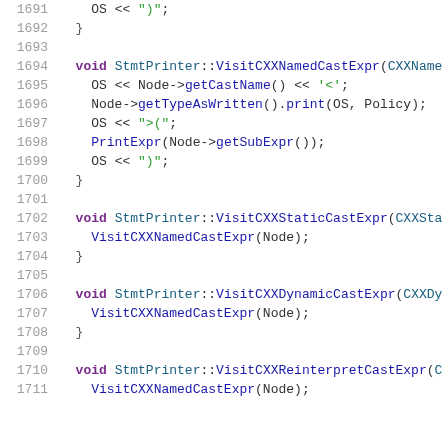[Figure (screenshot): Source code snippet in C++ showing StmtPrinter visitor functions for CXX named cast, static cast, dynamic cast, and reinterpret cast expressions. Lines 1691-1711 are shown with syntax highlighting: keywords in purple, function names in blue, string literals in green, line numbers in gray.]